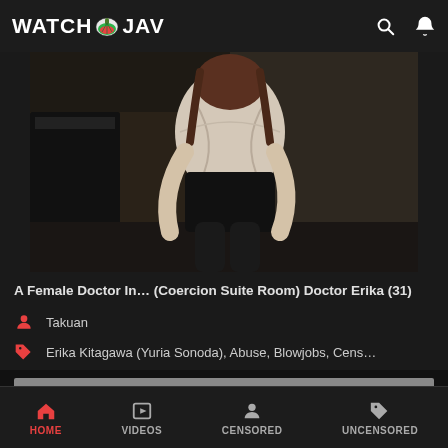WATCH JAV
[Figure (photo): Screenshot of video streaming website WatchJAV showing a video thumbnail of a person in a white shirt and dark skirt/stockings, bending forward away from camera in a dark room setting.]
A Female Doctor In… (Coercion Suite Room) Doctor Erika (31)
Takuan
Erika Kitagawa (Yuria Sonoda), Abuse, Blowjobs, Cens…
[Figure (screenshot): Second video thumbnail showing a grey placeholder with HD badge in top-left corner.]
HOME  VIDEOS  CENSORED  UNCENSORED